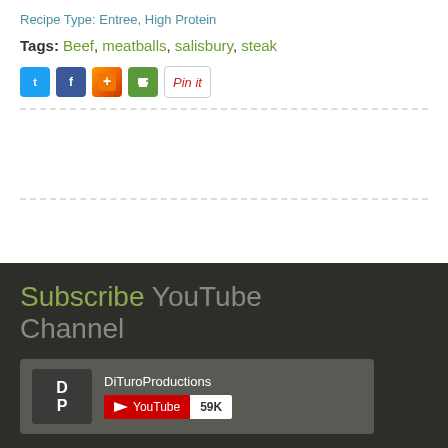Recipe Type: Entree, High Protein
Tags: Beef, meatballs, salisbury, steak
[Figure (screenshot): Social sharing icons: Twitter, Facebook, AddThis, Print, and a Pinterest Pin it button]
Subscribe YouTube Channel
[Figure (screenshot): YouTube channel widget showing DiTuroProductions channel with YouTube subscribe button and 59K subscriber count]